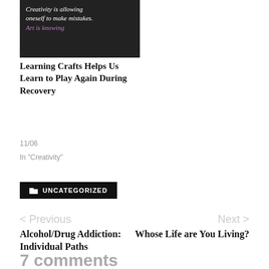[Figure (photo): Blog post thumbnail image with dark background showing text: 'Creativity is allowing oneself to make mistakes. Art is knowing...' with purple colored text]
Learning Crafts Helps Us Learn to Play Again During Recovery
11/06
In "Creativity"
UNCATEGORIZED
< Previous
Alcohol/Drug Addiction: Individual Paths
Next >
Whose Life are You Living?
7 comments